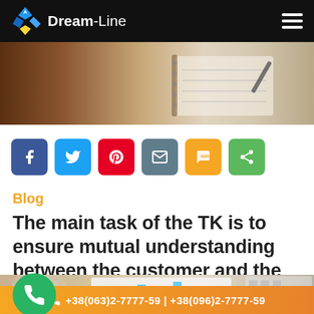Dream-Line
[Figure (photo): Partial view of a notebook/paper on a wooden desk background — website hero image strip]
[Figure (infographic): Row of social share buttons: Facebook (blue), Twitter (light blue), Pinterest (red), Email (grey), SMS (yellow), Share (green)]
Blog
The main task of the TK is to ensure mutual understanding between the customer and the contractor.
[Figure (photo): Partial photo of charts/graphs on paper beside a coffee cup and laptop keyboard on wooden desk, with floating green phone button overlay]
+38(063)2-7777-59 | +38(096)2-7777-59